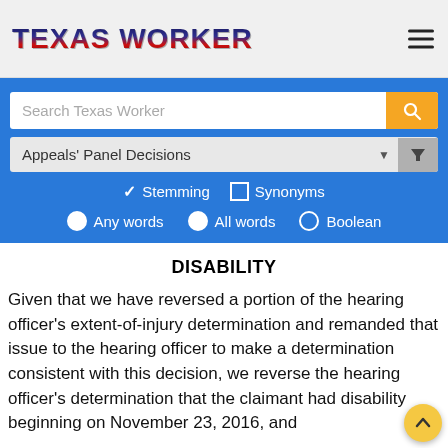TEXAS WORKER
[Figure (screenshot): Website search interface with search bar labeled 'Search Texas Worker', a dropdown for 'Appeals' Panel Decisions', options for Stemming and Synonyms, and radio buttons for Any words, All words, Boolean]
DISABILITY
Given that we have reversed a portion of the hearing officer's extent-of-injury determination and remanded that issue to the hearing officer to make a determination consistent with this decision, we reverse the hearing officer's determination that the claimant had disability beginning on November 23, 2016, and